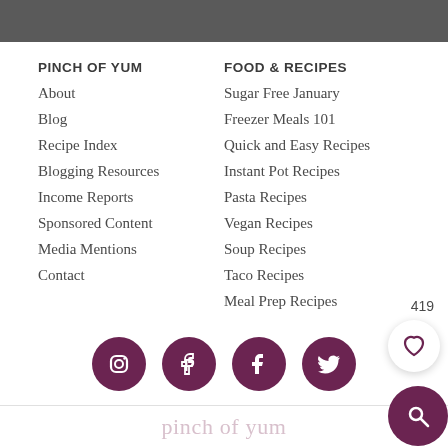PINCH OF YUM
About
Blog
Recipe Index
Blogging Resources
Income Reports
Sponsored Content
Media Mentions
Contact
FOOD & RECIPES
Sugar Free January
Freezer Meals 101
Quick and Easy Recipes
Instant Pot Recipes
Pasta Recipes
Vegan Recipes
Soup Recipes
Taco Recipes
Meal Prep Recipes
[Figure (infographic): Social media icons: Instagram, Pinterest, Facebook, Twitter in dark purple circles]